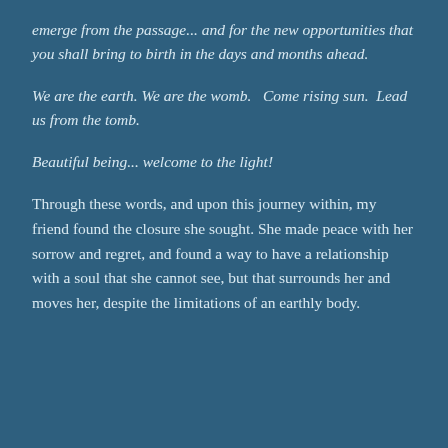emerge from the passage... and for the new opportunities that you shall bring to birth in the days and months ahead.
We are the earth. We are the womb.  Come rising sun.  Lead us from the tomb.
Beautiful being... welcome to the light!
Through these words, and upon this journey within, my friend found the closure she sought. She made peace with her sorrow and regret, and found a way to have a relationship with a soul that she cannot see, but that surrounds her and moves her, despite the limitations of an earthly body.